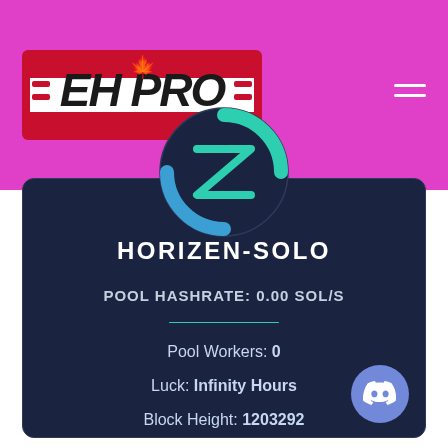[Figure (logo): EH PRO logo with Canadian maple leaf, red and white design on magenta/pink header background]
[Figure (logo): Horizen (ZEN) cryptocurrency circular logo in teal and blue tones]
HORIZEN-SOLO
POOL HASHRATE: 0.00 SOL/S
Pool Workers: 0
Luck: Infinity Hours
Block Height: 1203292
[Figure (logo): Discord button icon, white controller icon on purple circle, bottom right corner]